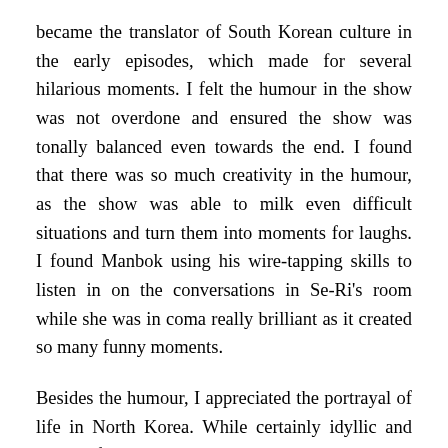became the translator of South Korean culture in the early episodes, which made for several hilarious moments. I felt the humour in the show was not overdone and ensured the show was tonally balanced even towards the end. I found that there was so much creativity in the humour, as the show was able to milk even difficult situations and turn them into moments for laughs. I found Manbok using his wire-tapping skills to listen in on the conversations in Se-Ri's room while she was in coma really brilliant as it created so many funny moments.
Besides the humour, I appreciated the portrayal of life in North Korea. While certainly idyllic and not the full picture, it was certainly a celebration of going back to the basics of life, where food is made from scratch and taken from nature. Without technology to preserve food, meat